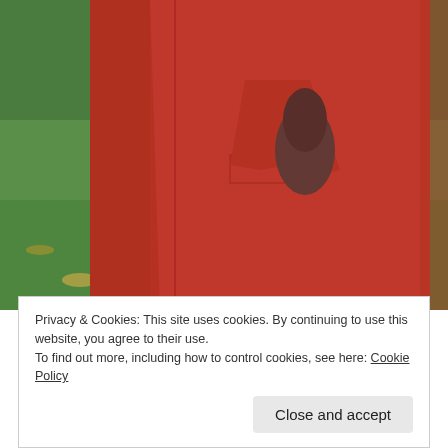[Figure (photo): Close-up photo of a person wearing a bright red wool coat, hand in pocket, standing in front of green grass with fallen leaves.]
DE: Auch stand ein neuer Mantel an. Ich hatte letztes Jahr zwar schon einen genäht, aber ich war nicht wirklich mit der Passform zufrieden und die Ärmel waren etwas zu kurz... weshalb ich mich für den Sew It Sommer Contest entschieden habe
Privacy & Cookies: This site uses cookies. By continuing to use this website, you agree to their use.
To find out more, including how to control cookies, see here: Cookie Policy